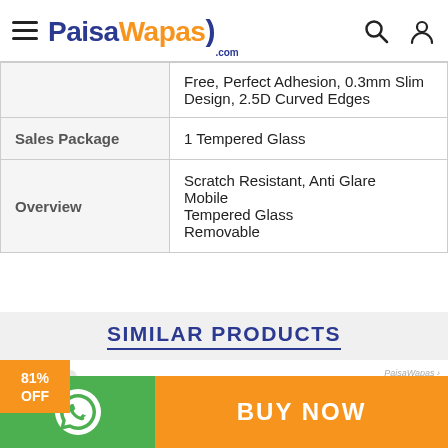PaisaWapas.com
|  | Free, Perfect Adhesion, 0.3mm Slim Design, 2.5D Curved Edges |
| Sales Package | 1 Tempered Glass |
| Overview | Scratch Resistant, Anti Glare Mobile Tempered Glass Removable |
SIMILAR PRODUCTS
Crocus Tempered Glass Guard for Mi Redmi 1S (Pack of 1)
BUY NOW